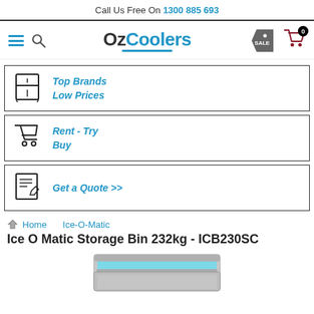Call Us Free On 1300 885 693
[Figure (logo): OzCoolers navigation bar with hamburger menu, search icon, OzCoolers logo, sale tag, and shopping cart with badge 0]
Top Brands Low Prices
Rent - Try Buy
Get a Quote >>
Home   Ice-O-Matic
Ice O Matic Storage Bin 232kg - ICB230SC
[Figure (photo): Partial photo of Ice O Matic Storage Bin ICB230SC stainless steel unit with blue interior lid]